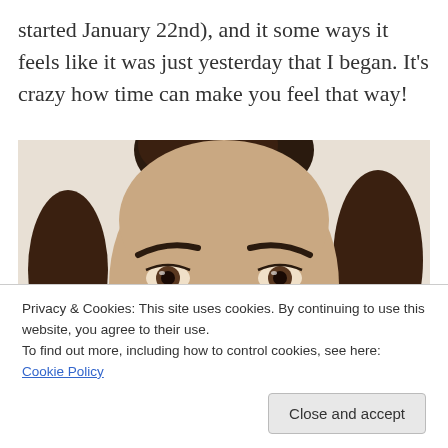started January 22nd), and it some ways it feels like it was just yesterday that I began. It's crazy how time can make you feel that way!
[Figure (photo): Close-up photo of a woman's face looking directly at the camera, with dark hair pulled back, against a light background.]
Privacy & Cookies: This site uses cookies. By continuing to use this website, you agree to their use.
To find out more, including how to control cookies, see here: Cookie Policy
Close and accept